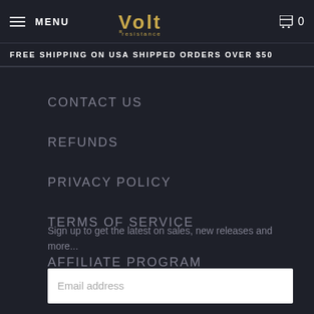MENU | Volt Resistance | 0
FREE SHIPPING ON USA SHIPPED ORDERS OVER $50
CONTACT US
REFUNDS
PRIVACY POLICY
TERMS OF SERVICE
AFFILIATE PROGRAM
Sign up to get the latest on sales, new releases and more...
Email address